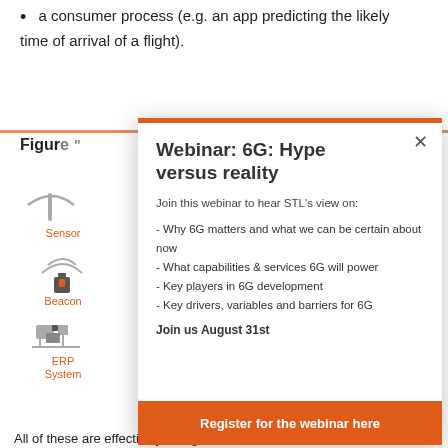a consumer process (e.g. an app predicting the likely time of arrival of a flight).
Figure “”
[Figure (infographic): Background diagram showing icons for Sensor, Beacon, and ERP System in a left column, partially obscured by modal overlay]
[Figure (screenshot): Modal dialog popup: Webinar: 6G: Hype versus reality. Join this webinar to hear STL’s view on: Why 6G matters and what we can be certain about now, What capabilities & services 6G will power, Key players in 6G development, Key drivers, variables and barriers for 6G. Join us August 31st. Register for the webinar here button.]
All of these are effectively “things” and their